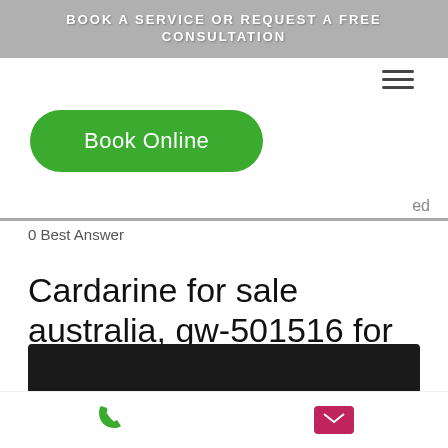BOOK A SERVICE OR REQUEST A FREE CONSULTATION
[Figure (screenshot): Hamburger menu icon (three horizontal lines)]
[Figure (screenshot): Green rounded button labeled 'Book Online']
ed
0 Best Answer
Cardarine for sale australia, gw-501516 for sale australia
Cardarine for sale australia, gw-501516 for sale australia - Legal steroids for sale
[Figure (screenshot): Dark image strip at the bottom of the page]
[Figure (screenshot): Phone icon (green) and email icon (pink/red) in bottom icon bar]